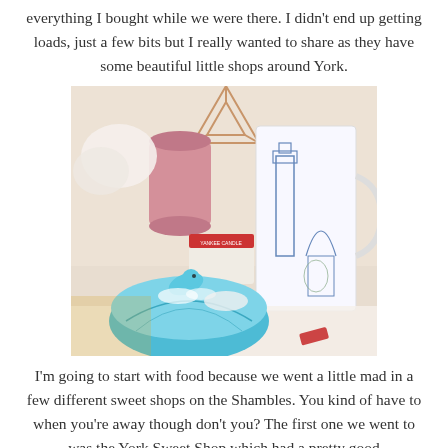everything I bought while we were there. I didn't end up getting loads, just a few bits but I really wanted to share as they have some beautiful little shops around York.
[Figure (photo): A styled flat-lay photo showing a decorative blue and white London-themed mug, a turquoise clam shell trinket box with a dolphin figurine on top, a pink cylindrical candle holder, a Yankee Candle box, white flowers, and a rose gold geometric diamond-shaped decoration, arranged on a white surface.]
I'm going to start with food because we went a little mad in a few different sweet shops on the Shambles. You kind of have to when you're away though don't you? The first one we went to was the York Sweet Shop which had a pretty good